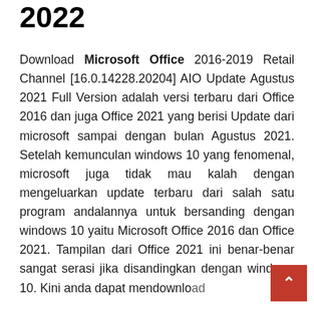2022
Download Microsoft Office 2016-2019 Retail Channel [16.0.14228.20204] AIO Update Agustus 2021 Full Version adalah versi terbaru dari Office 2016 dan juga Office 2021 yang berisi Update dari microsoft sampai dengan bulan Agustus 2021. Setelah kemunculan windows 10 yang fenomenal, microsoft juga tidak mau kalah dengan mengeluarkan update terbaru dari salah satu program andalannya untuk bersanding dengan windows 10 yaitu Microsoft Office 2016 dan Office 2021. Tampilan dari Office 2021 ini benar-benar sangat serasi jika disandingkan dengan windows 10. Kini anda dapat mendownload